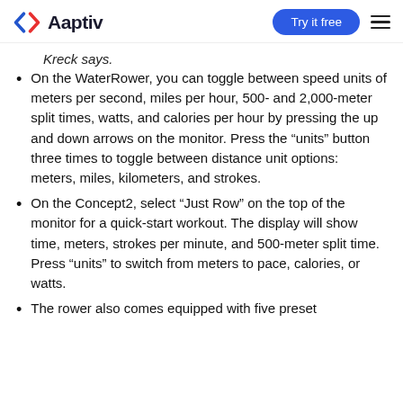Aaptiv — Try it free
Kreck says.
On the WaterRower, you can toggle between speed units of meters per second, miles per hour, 500- and 2,000-meter split times, watts, and calories per hour by pressing the up and down arrows on the monitor. Press the “units” button three times to toggle between distance unit options: meters, miles, kilometers, and strokes.
On the Concept2, select “Just Row” on the top of the monitor for a quick-start workout. The display will show time, meters, strokes per minute, and 500-meter split time. Press “units” to switch from meters to pace, calories, or watts.
The rower also comes equipped with five preset